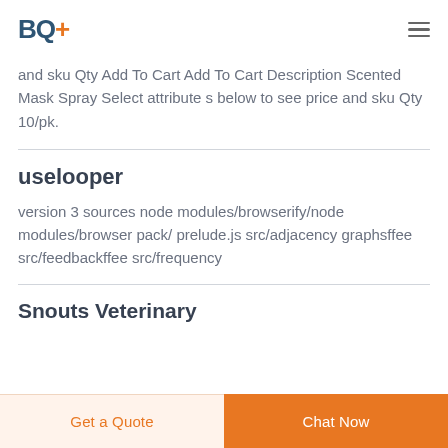BQ+
and sku Qty Add To Cart Add To Cart Description Scented Mask Spray Select attribute s below to see price and sku Qty 10/pk.
uselooper
version 3 sources node modules/browserify/node modules/browser pack/ prelude.js src/adjacency graphsffee src/feedbackffee src/frequency
Snouts Veterinary